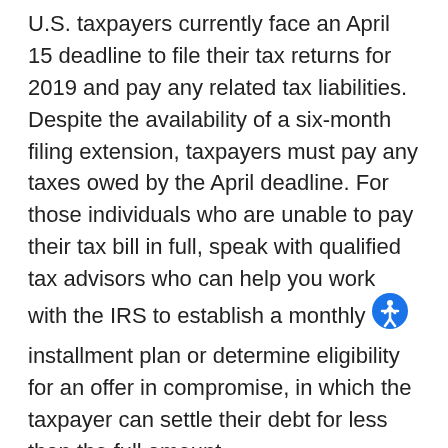U.S. taxpayers currently face an April 15 deadline to file their tax returns for 2019 and pay any related tax liabilities. Despite the availability of a six-month filing extension, taxpayers must pay any taxes owed by the April deadline. For those individuals who are unable to pay their tax bill in full, speak with qualified tax advisors who can help you work with the IRS to establish a monthly installment plan or determine eligibility for an offer in compromise, in which the taxpayer can settle their debt for less than the full amount.
About the author: Joseph L. Saka, CPA/PFS, is CEO of Berkowitz Pollack Brant Advisors + CPAas, where he provides a full range of income and estate